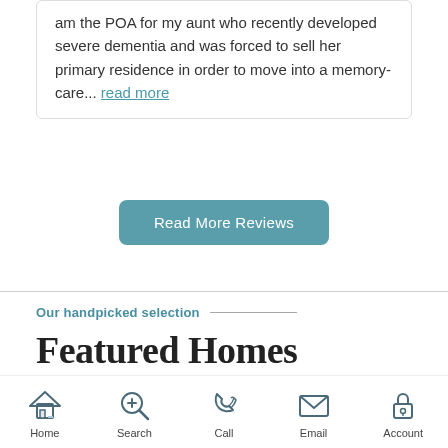am the POA for my aunt who recently developed severe dementia and was forced to sell her primary residence in order to move into a memory-care... read more
Read More Reviews
Our handpicked selection
Featured Homes
Home  Search  Call  Email  Account